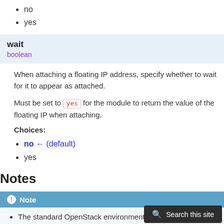no
yes
wait
boolean
When attaching a floating IP address, specify whether to wait for it to appear as attached.
Must be set to yes for the module to return the value of the floating IP when attaching.
Choices:
no ← (default)
yes
Notes
Note
The standard OpenStack environment variables